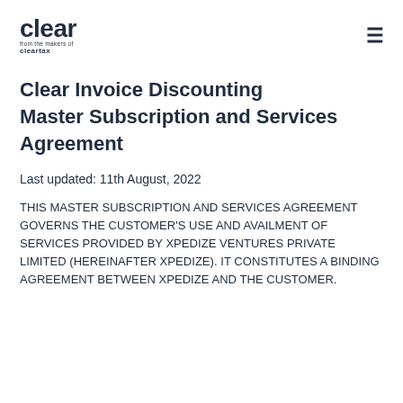clear from the makers of cleartax
Clear Invoice Discounting Master Subscription and Services Agreement
Last updated: 11th August, 2022
THIS MASTER SUBSCRIPTION AND SERVICES AGREEMENT GOVERNS THE CUSTOMER'S USE AND AVAILMENT OF SERVICES PROVIDED BY XPEDIZE VENTURES PRIVATE LIMITED (HEREINAFTER XPEDIZE). IT CONSTITUTES A BINDING AGREEMENT BETWEEN XPEDIZE AND THE CUSTOMER.